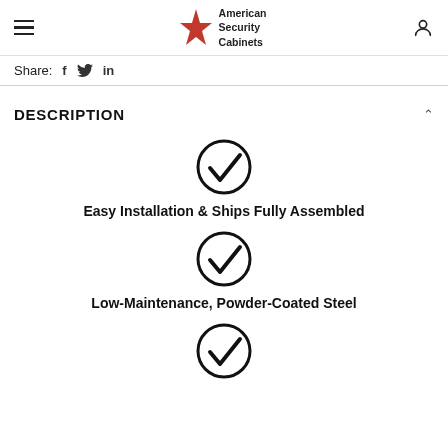American Security Cabinets
Share: f twitter in
DESCRIPTION
[Figure (illustration): Checkmark icon in a circle]
Easy Installation & Ships Fully Assembled
[Figure (illustration): Checkmark icon in a circle]
Low-Maintenance, Powder-Coated Steel
[Figure (illustration): Checkmark icon in a circle]